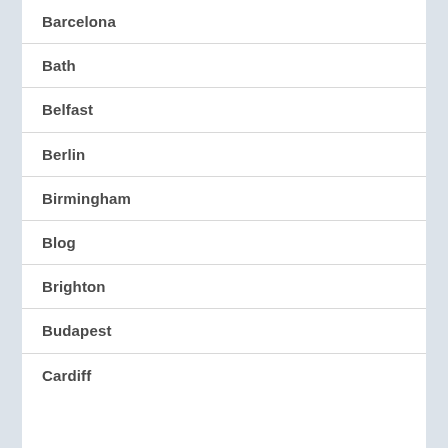Barcelona
Bath
Belfast
Berlin
Birmingham
Blog
Brighton
Budapest
Cardiff